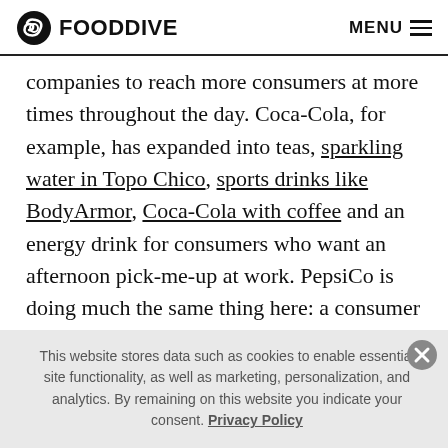FOOD DIVE  MENU
companies to reach more consumers at more times throughout the day. Coca-Cola, for example, has expanded into teas, sparkling water in Topo Chico, sports drinks like BodyArmor, Coca-Cola with coffee and an energy drink for consumers who want an afternoon pick-me-up at work. PepsiCo is doing much the same thing here: a consumer may not want a Pepsi in the morning, but still crave the caffeine boost and some nutritional benefits while they are on the go.
This website stores data such as cookies to enable essential site functionality, as well as marketing, personalization, and analytics. By remaining on this website you indicate your consent. Privacy Policy